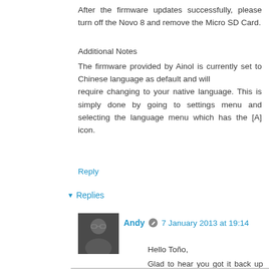After the firmware updates successfully, please turn off the Novo 8 and remove the Micro SD Card.
Additional Notes
The firmware provided by Ainol is currently set to Chinese language as default and will require changing to your native language. This is simply done by going to settings menu and selecting the language menu which has the [A] icon.
Reply
▾ Replies
[Figure (photo): Avatar photo of Andy - a person wearing glasses]
Andy  7 January 2013 at 19:14
Hello Toño,
Glad to hear you got it back up and working, would of replied sooner but had no internet for a few days. (it's terrible to think how much we depend on it these days)